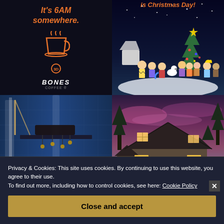[Figure (photo): Bones Coffee advertisement on dark background with orange italic text 'It's 6AM somewhere.' and coffee cup icon with Bones Coffee logo below]
[Figure (illustration): Charlie Brown Christmas special animation showing Peanuts characters gathered around a small Christmas tree under a starry night sky. Top text partially visible: 'is Christmas Day!']
[Figure (photo): Concert or stage show photo with dramatic vertical light beams and silhouette of stage equipment against a blue-lit background]
[Figure (photo): Suburban house exterior at dusk/twilight with purple and pink sky, illuminated windows and garage, stone and siding exterior]
Privacy & Cookies: This site uses cookies. By continuing to use this website, you agree to their use.
To find out more, including how to control cookies, see here: Cookie Policy
Close and accept